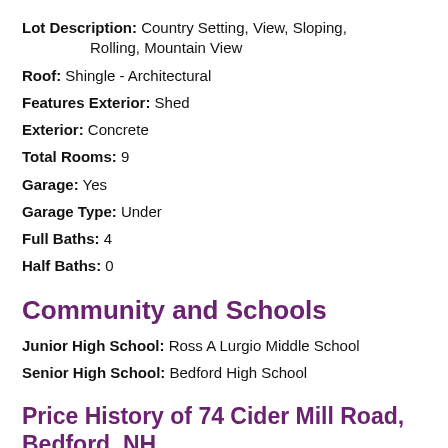Lot Description: Country Setting, View, Sloping, Rolling, Mountain View
Roof: Shingle - Architectural
Features Exterior: Shed
Exterior: Concrete
Total Rooms: 9
Garage: Yes
Garage Type: Under
Full Baths: 4
Half Baths: 0
Community and Schools
Junior High School: Ross A Lurgio Middle School
Senior High School: Bedford High School
Price History of 74 Cider Mill Road, Bedford, NH